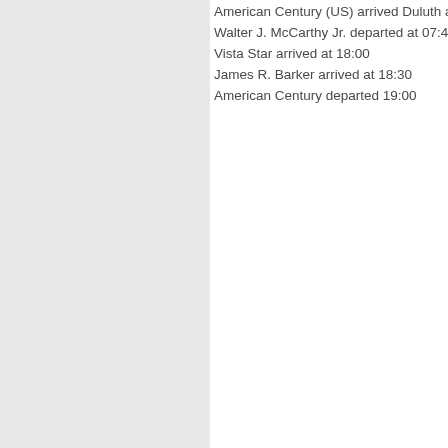American Century (US) arrived Duluth at 0[cut off]
Walter J. McCarthy Jr. departed at 07:48
Vista Star arrived at 18:00
James R. Barker arrived at 18:30
American Century departed 19:00